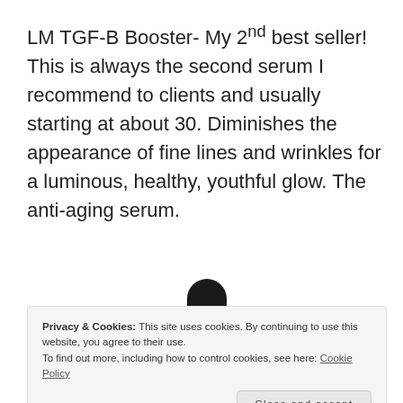LM TGF-B Booster- My 2nd best seller! This is always the second serum I recommend to clients and usually starting at about 30. Diminishes the appearance of fine lines and wrinkles for a luminous, healthy, youthful glow. The anti-aging serum.
[Figure (photo): Partial view of a dark dropper bottle top (black) and the top portion of an amber/orange bottle below, against a white background]
Privacy & Cookies: This site uses cookies. By continuing to use this website, you agree to their use. To find out more, including how to control cookies, see here: Cookie Policy
Close and accept